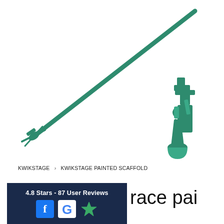[Figure (photo): Product photo showing a green painted kwikstage scaffold brace - a long diagonal tube with a wedge fitting at the bottom-left end, and a separate close-up of the wedge connector piece shown at bottom-right]
KWIKSTAGE › KWIKSTAGE PAINTED SCAFFOLD
[Figure (infographic): Dark blue overlay box showing '4.8 Stars - 87 User Reviews' with Facebook and Google review icons and a star rating symbol]
race pai